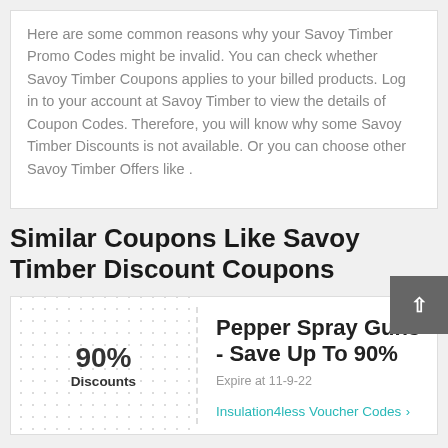Here are some common reasons why your Savoy Timber Promo Codes might be invalid. You can check whether Savoy Timber Coupons applies to your billed products. Log in to your account at Savoy Timber to view the details of Coupon Codes. Therefore, you will know why some Savoy Timber Discounts is not available. Or you can choose other Savoy Timber Offers like .
Similar Coupons Like Savoy Timber Discount Coupons
90% Discounts
Pepper Spray Guns - Save Up To 90%
Expire at 11-9-22
Insulation4less Voucher Codes >